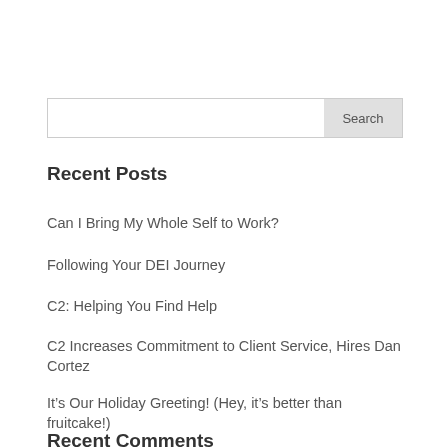Search
Recent Posts
Can I Bring My Whole Self to Work?
Following Your DEI Journey
C2: Helping You Find Help
C2 Increases Commitment to Client Service, Hires Dan Cortez
It’s Our Holiday Greeting! (Hey, it’s better than fruitcake!)
Recent Comments